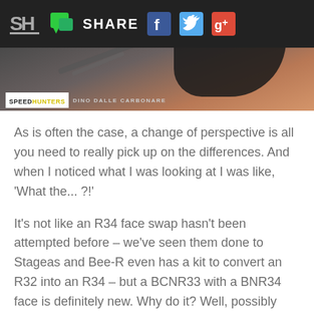SH SHARE [Facebook] [Twitter] [Google+]
[Figure (photo): Top portion of a car photograph, showing curved bodywork against a dark background, with SPEEDHUNTERS DINO DALLE CARBONARE credit overlay]
As is often the case, a change of perspective is all you need to really pick up on the differences. And when I noticed what I was looking at I was like, 'What the... ?!'
It's not like an R34 face swap hasn't been attempted before – we've seen them done to Stageas and Bee-R even has a kit to convert an R32 into an R34 – but a BCNR33 with a BNR34 face is definitely new. Why do it? Well, possibly because the car was involved in an accident and the owner fancied doing